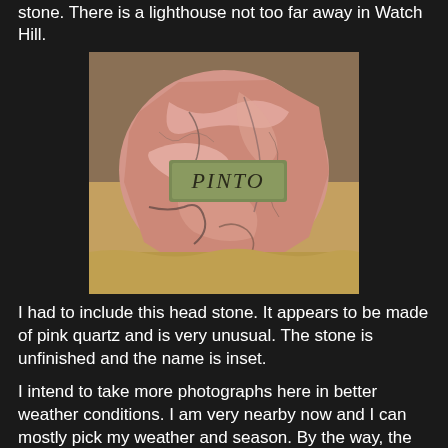stone.  There is a lighthouse not too far away in Watch Hill.
[Figure (photo): A headstone made of rough, unfinished pink quartz rock with a bronze inset plaque reading 'PINTO', sitting on dry grass.]
I had to include this head stone.  It appears to be made of pink quartz and is very unusual.  The stone is unfinished and the name is inset.
I intend to take more photographs here in better weather conditions.  I am very nearby now and I can mostly pick my weather and season.  By the way, the cemetery's name is